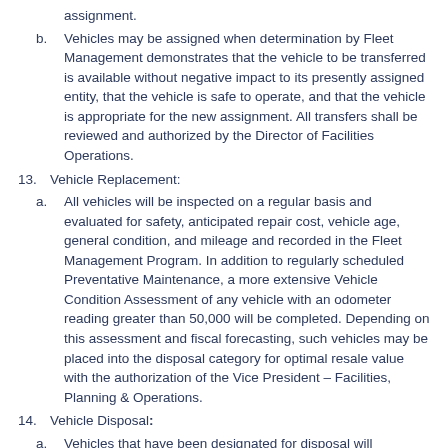assignment.
b. Vehicles may be assigned when determination by Fleet Management demonstrates that the vehicle to be transferred is available without negative impact to its presently assigned entity, that the vehicle is safe to operate, and that the vehicle is appropriate for the new assignment. All transfers shall be reviewed and authorized by the Director of Facilities Operations.
13. Vehicle Replacement:
a. All vehicles will be inspected on a regular basis and evaluated for safety, anticipated repair cost, vehicle age, general condition, and mileage and recorded in the Fleet Management Program. In addition to regularly scheduled Preventative Maintenance, a more extensive Vehicle Condition Assessment of any vehicle with an odometer reading greater than 50,000 will be completed. Depending on this assessment and fiscal forecasting, such vehicles may be placed into the disposal category for optimal resale value with the authorization of the Vice President – Facilities, Planning & Operations.
14. Vehicle Disposal:
a. Vehicles that have been designated for disposal will